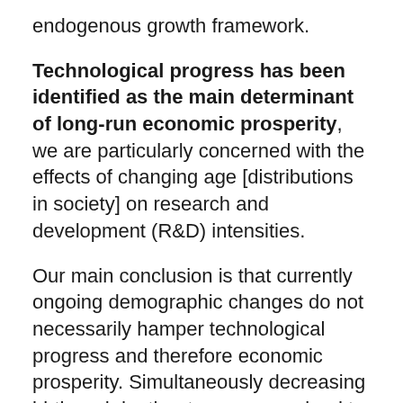endogenous growth framework.
Technological progress has been identified as the main determinant of long-run economic prosperity, we are particularly concerned with the effects of changing age [distributions in society] on research and development (R&D) intensities.
Our main conclusion is that currently ongoing demographic changes do not necessarily hamper technological progress and therefore economic prosperity. Simultaneously decreasing birth and death rates can even lead to an increase in the economic growth rate.
If you liked this article, please give it a quick